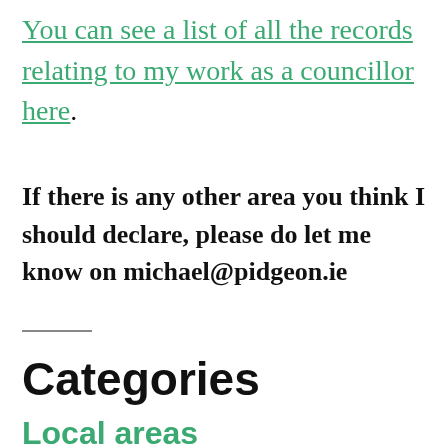You can see a list of all the records relating to my work as a councillor here.
If there is any other area you think I should declare, please do let me know on michael@pidgeon.ie
Categories
Local areas